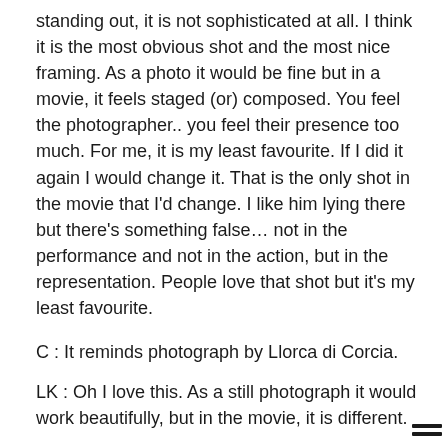standing out, it is not sophisticated at all. I think it is the most obvious shot and the most nice framing. As a photo it would be fine but in a movie, it feels staged (or) composed. You feel the photographer.. you feel their presence too much. For me, it is my least favourite. If I did it again I would change it. That is the only shot in the movie that I'd change. I like him lying there but there's something false… not in the performance and not in the action, but in the representation. People love that shot but it's my least favourite.
C : It reminds photograph by Llorca di Corcia.
LK : Oh I love this. As a still photograph it would work beautifully, but in the movie, it is different.
C : Do you have any photo work?
LK : I used to shoot some for Purple and I would love to do some more.